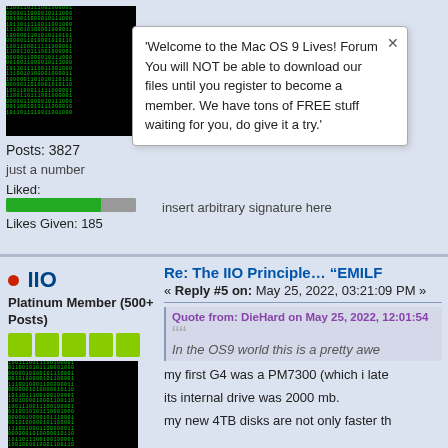[Figure (other): Matrix-style binary avatar image (green text on black background)]
Posts: 3827
just a number
Liked:
[Figure (other): Liked progress bar, green portion and gray portion]
Likes Given: 185
'Welcome to the Mac OS 9 Lives! Forum You will NOT be able to download our files until you register to become a member. We have tons of FREE stuff waiting for you, do give it a try.'
insert arbitrary signature here
IIO
Platinum Member (500+ Posts)
[Figure (other): Five green rank icons]
[Figure (other): Matrix-style binary avatar image (green text on black background)]
Posts: 3827
just a number
Re: The IIO Principle… “EMILF”
« Reply #5 on: May 25, 2022, 03:21:09 PM »
Quote from: DieHard on May 25, 2022, 12:01:54
In the OS9 world this is a pretty awe
my first G4 was a PM7300 (which i late
its internal drive was 2000 mb.
my new 4TB disks are not only faster th